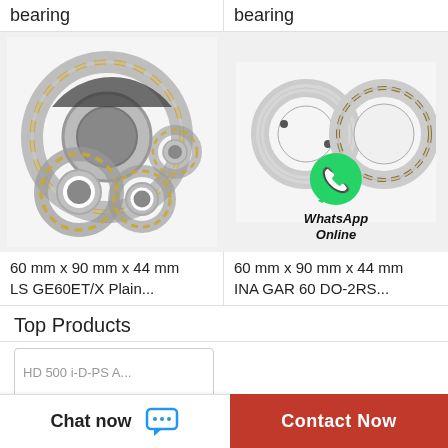bearing
bearing
[Figure (photo): Multiple cylindrical roller bearings with gold cage, arranged in cluster — LS GE60ET/X Plain bearing product photo]
60 mm x 90 mm x 44 mm
LS GE60ET/X Plain...
[Figure (photo): INA GAR 60 DO-2RS plain bearing rings with WhatsApp Online contact overlay]
60 mm x 90 mm x 44 mm
INA GAR 60 DO-2RS...
Top Products
Chat now
Contact Now